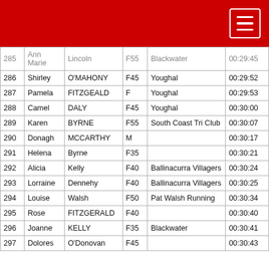| # | First | Last | Cat | Club | Time |
| --- | --- | --- | --- | --- | --- |
| 285 | Ann Marie | Lincoln | F55 | Blackwater | 00:29:45 |
| 286 | Shirley | O'MAHONY | F45 | Youghal | 00:29:52 |
| 287 | Pamela | FITZGEALD | F | Youghal | 00:29:53 |
| 288 | Camel | DALY | F45 | Youghal | 00:30:00 |
| 289 | Karen | BYRNE | F55 | South Coast Tri Club | 00:30:07 |
| 290 | Donagh | MCCARTHY | M |  | 00:30:17 |
| 291 | Helena | Byrne | F35 |  | 00:30:21 |
| 292 | Alicia | Kelly | F40 | Ballinacurra Villagers | 00:30:24 |
| 293 | Lorraine | Dennehy | F40 | Ballinacurra Villagers | 00:30:25 |
| 294 | Louise | Walsh | F50 | Pat Walsh Running | 00:30:34 |
| 295 | Rose | FITZGERALD | F40 |  | 00:30:40 |
| 296 | Joanne | KELLY | F35 | Blackwater | 00:30:41 |
| 297 | Dolores | O'Donovan | F45 |  | 00:30:43 |